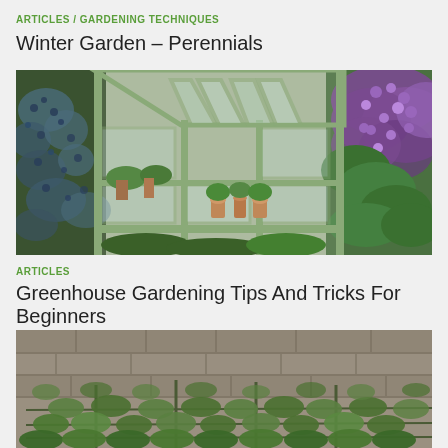ARTICLES / GARDENING TECHNIQUES
Winter Garden – Perennials
[Figure (photo): A pale green greenhouse with open slanted glass windows, surrounded by lush green foliage and purple flowering shrubs]
ARTICLES
Greenhouse Gardening Tips And Tricks For Beginners
[Figure (photo): A stone garden wall covered with green climbing espalier plants and ivy]